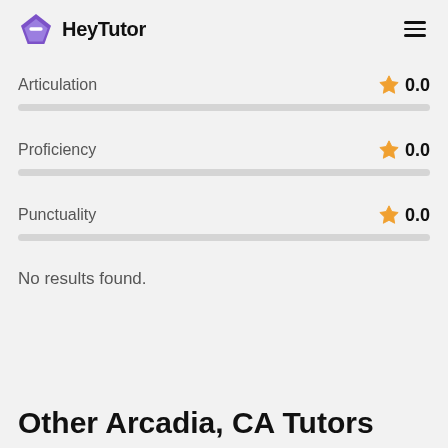HeyTutor
Articulation  ★ 0.0
Proficiency  ★ 0.0
Punctuality  ★ 0.0
No results found.
Other Arcadia, CA Tutors